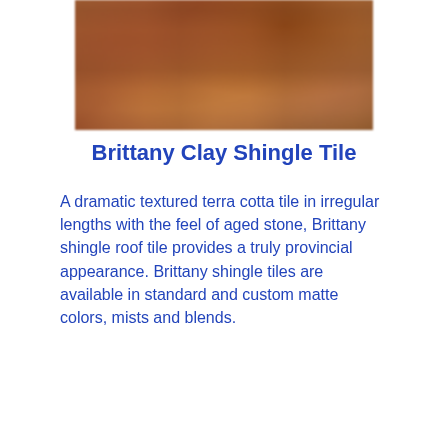[Figure (photo): Close-up photo of Brittany Clay Shingle Tile showing textured terra cotta tiles in warm brown and rust tones with irregular surface texture resembling aged stone.]
Brittany Clay Shingle Tile
A dramatic textured terra cotta tile in irregular lengths with the feel of aged stone, Brittany shingle roof tile provides a truly provincial appearance. Brittany shingle tiles are available in standard and custom matte colors, mists and blends.